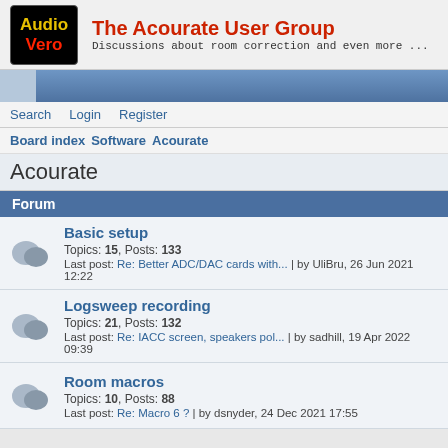The Acourate User Group – Discussions about room correction and even more ...
Search  Login  Register
Board index  Software  Acourate
Acourate
Forum
Basic setup – Topics: 15, Posts: 133 – Last post: Re: Better ADC/DAC cards with... | by UliBru, 26 Jun 2021 12:22
Logsweep recording – Topics: 21, Posts: 132 – Last post: Re: IACC screen, speakers pol... | by sadhill, 19 Apr 2022 09:39
Room macros – Topics: 10, Posts: 88 – Last post: Re: Macro 6 ? | by dsnyder, 24 Dec 2021 17:55